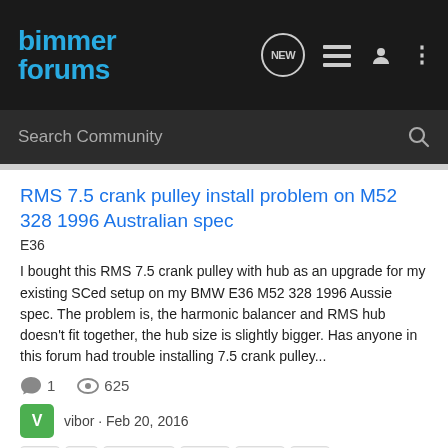Bimmer Forums
Search Community
RMS 7.5 crank pulley install problem on M52 328 1996 Australian spec
E36
I bought this RMS 7.5 crank pulley with hub as an upgrade for my existing SCed setup on my BMW E36 M52 328 1996 Aussie spec. The problem is, the harmonic balancer and RMS hub doesn't fit together, the hub size is slightly bigger. Has anyone in this forum had trouble installing 7.5 crank pulley...
1   625
vibor · Feb 20, 2016
328   75   australian   crank   install   rms